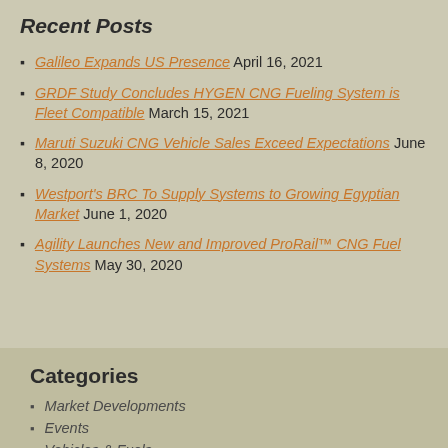Recent Posts
Galileo Expands US Presence April 16, 2021
GRDF Study Concludes HYGEN CNG Fueling System is Fleet Compatible March 15, 2021
Maruti Suzuki CNG Vehicle Sales Exceed Expectations June 8, 2020
Westport's BRC To Supply Systems to Growing Egyptian Market June 1, 2020
Agility Launches New and Improved ProRail™ CNG Fuel Systems May 30, 2020
Categories
Market Developments
Events
Vehicles & Fuels